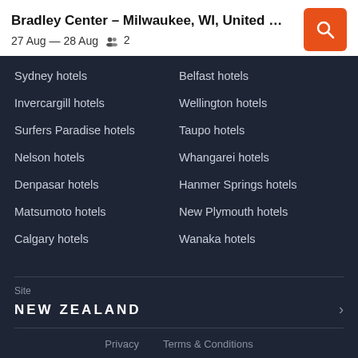Bradley Center - Milwaukee, WI, United Stat...
27 Aug — 28 Aug  2
Sydney hotels
Belfast hotels
Invercargill hotels
Wellington hotels
Surfers Paradise hotels
Taupo hotels
Nelson hotels
Whangarei hotels
Denpasar hotels
Hanmer Springs hotels
Matsumoto hotels
New Plymouth hotels
Calgary hotels
Wanaka hotels
Site
NEW ZEALAND
Privacy   Terms & Conditions